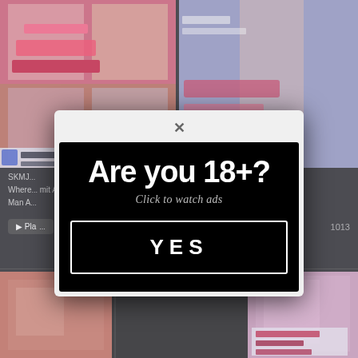[Figure (screenshot): Background showing Japanese adult DVD cover thumbnails mosaic in top portion of page]
SKMJ... Where... Man A...
1013
[Figure (screenshot): Bottom row of video thumbnails]
[Figure (screenshot): Age verification modal dialog with close X button at top, black background inner box containing large bold text 'Are you 18+?', italic text 'Click to watch ads', and a bordered YES button]
Are you 18+?
Click to watch ads
YES